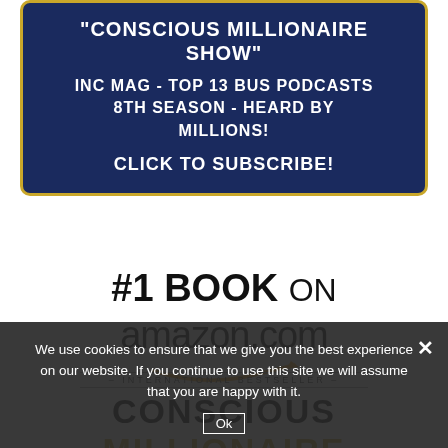"CONSCIOUS MILLIONAIRE SHOW"
INC MAG - TOP 13 BUS PODCASTS 8TH SEASON - HEARD BY MILLIONS!
CLICK TO SUBSCRIBE!
#1 BOOK ON amazon.com
INTERNATIONAL BESTSELLER
CONSCIOUS MILLIONAIRE
We use cookies to ensure that we give you the best experience on our website. If you continue to use this site we will assume that you are happy with it.